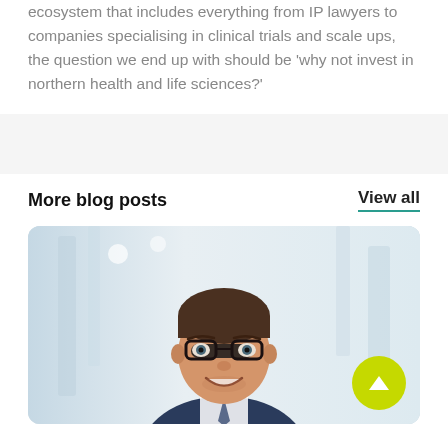ecosystem that includes everything from IP lawyers to companies specialising in clinical trials and scale ups, the question we end up with should be 'why not invest in northern health and life sciences?'
More blog posts
View all
[Figure (photo): Professional man wearing glasses and a suit, smiling, photographed in a bright modern interior setting]